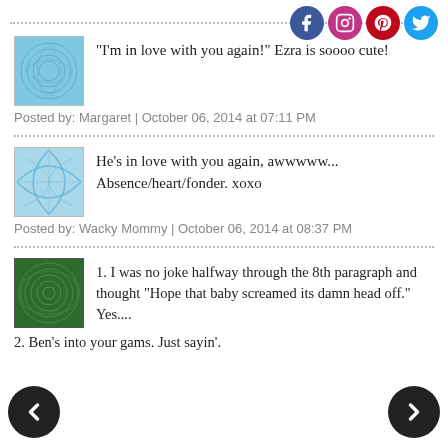[Figure (infographic): Social media icons row: Facebook (blue circle), Instagram (gradient circle), Pinterest (red circle), Twitter (blue circle)]
"I'm in love with you again!" Ezra is soooo cute!
Posted by: Margaret | October 06, 2014 at 07:11 PM
He's in love with you again, awwwww... Absence/heart/fonder. xoxo
Posted by: Wacky Mommy | October 06, 2014 at 08:37 PM
1. I was no joke halfway through the 8th paragraph and thought "Hope that baby screamed its damn head off." Yes....
2. Ben's into your gams. Just sayin'.